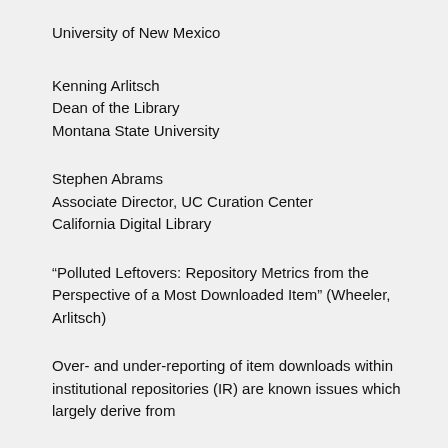University of New Mexico
Kenning Arlitsch
Dean of the Library
Montana State University
Stephen Abrams
Associate Director, UC Curation Center
California Digital Library
“Polluted Leftovers: Repository Metrics from the Perspective of a Most Downloaded Item” (Wheeler, Arlitsch)
Over- and under-reporting of item downloads within institutional repositories (IR) are known issues which largely derive from
Over- and under-reporting of item downloads within